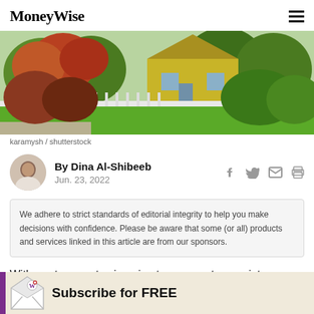MoneyWise
[Figure (photo): Suburban house with white fence, colorful autumn foliage and green lawn]
karamysh / shutterstock
By Dina Al-Shibeeb
Jun. 23, 2022
We adhere to strict standards of editorial integrity to help you make decisions with confidence. Please be aware that some (or all) products and services linked in this article are from our sponsors.
With mortgage rates jumping two percentage points
Subscribe for FREE